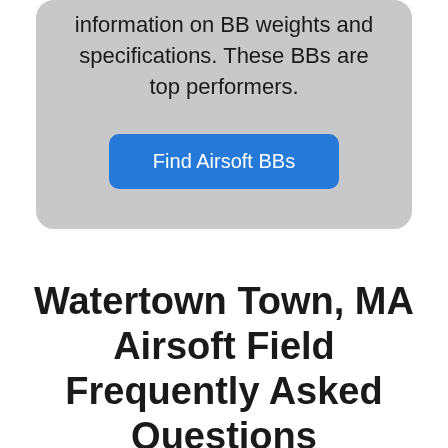information on BB weights and specifications. These BBs are top performers.
Find Airsoft BBs
Watertown Town, MA Airsoft Field Frequently Asked Questions